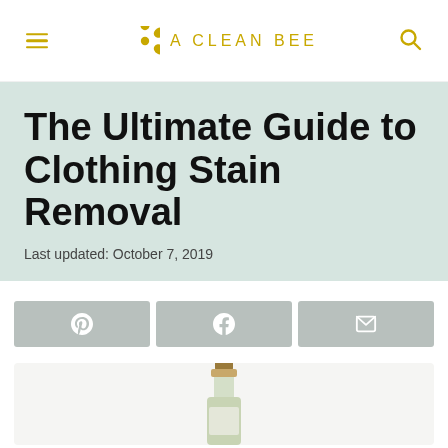A CLEAN BEE
The Ultimate Guide to Clothing Stain Removal
Last updated: October 7, 2019
[Figure (infographic): Social share buttons row: Pinterest, Facebook, Email icons on grey background]
[Figure (photo): Partial image of a bottle (olive oil or similar) with a cork/cap visible at the bottom of the page]